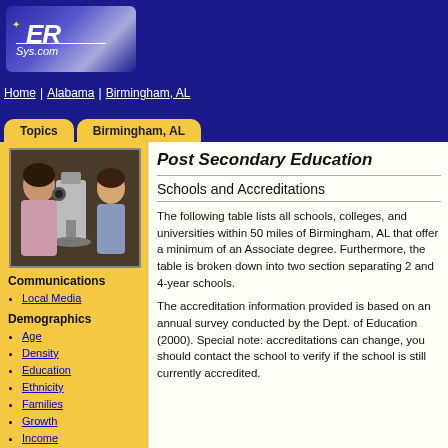ER Sys.com
Home | Alabama | Birmingham, AL
Topics | Birmingham, AL
[Figure (photo): Photo of a student looking through a microscope]
Communications
Local Media
Demographics
Age
Density
Education
Ethnicity
Families
Growth
Income
Skills
Post Secondary Education
Schools and Accreditations
The following table lists all schools, colleges, and universities within 50 miles of Birmingham, AL that offer a minimum of an Associate degree. Furthermore, the table is broken down into two section separating 2 and 4-year schools.
The accreditation information provided is based on an annual survey conducted by the Dept. of Education (2000). Special note: accreditations can change, you should contact the school to verify if the school is still currently accredited.